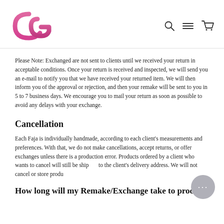CG logo with navigation icons (search, menu, cart)
Please Note: Exchanged are not sent to clients until we received your return in acceptable conditions. Once your return is received and inspected, we will send you an e-mail to notify you that we have received your returned item. We will then inform you of the approval or rejection, and then your remake will be sent to you in 5 to 7 business days. We encourage you to mail your return as soon as possible to avoid any delays with your exchange.
Cancellation
Each Faja is individually handmade, according to each client's measurements and preferences. With that, we do not make cancellations, accept returns, or offer exchanges unless there is a production error. Products ordered by a client who wants to cancel will still be shipped to the client's delivery address. We will not cancel or store produ...
How long will my Remake/Exchange take to process?